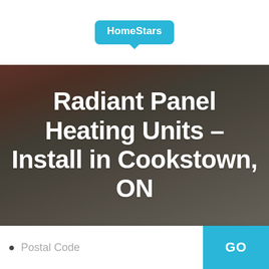[Figure (logo): HomeStars logo in a teal/cyan speech bubble shape]
[Figure (photo): Background photo showing construction tools including gloves and blueprints/plans, with a dark overlay]
Radiant Panel Heating Units - Install in Cookstown, ON
Postal Code
GO